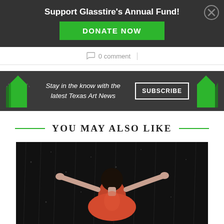Support Glasstire's Annual Fund!
DONATE NOW
0 comment
[Figure (infographic): Dark banner with green arrow icons on both sides reading: Stay in the know with the latest Texas Art News, with a SUBSCRIBE button]
YOU MAY ALSO LIKE
[Figure (photo): A person in a red/orange dress with arms outstretched, photographed from behind against a dark background with water droplets/rain]